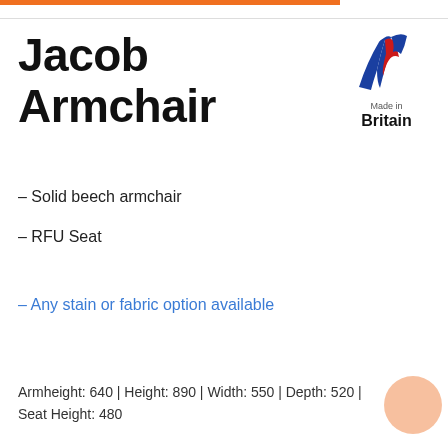Jacob Armchair
[Figure (logo): Made in Britain logo with stylised blue and red checkmark/flag design]
– Solid beech armchair
– RFU Seat
– Any stain or fabric option available
Armheight: 640 | Height: 890 | Width: 550 | Depth: 520 | Seat Height: 480